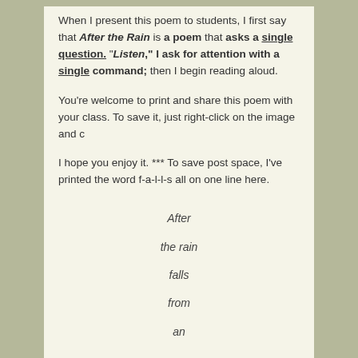When I present this poem to students, I first say that After the Rain is a poem that asks a single question. "Listen," I ask for attention with a single command; then I begin reading aloud.
You're welcome to print and share this poem with your class. To save it, just right-click on the image and c
I hope you enjoy it. *** To save post space, I've printed the word f-a-l-l-s all on one line here.
After
the rain
falls
from
an